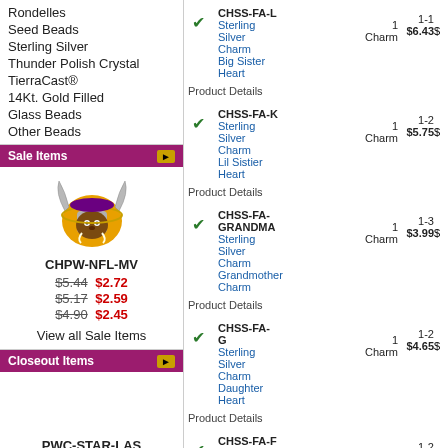Rondelles
Seed Beads
Sterling Silver
Thunder Polish Crystal
TierraCast®
14Kt. Gold Filled
Glass Beads
Other Beads
Sale Items
[Figure (illustration): Minnesota Vikings NFL helmet logo illustration]
CHPW-NFL-MV $5.44 $2.72 $5.17 $2.59 $4.90 $2.45
View all Sale Items
Closeout Items
PWC-STAR-LAS $4.05 $2.63 $3.85 $2.50
| SKU/Name | Qty | Range | Price |
| --- | --- | --- | --- |
| CHSS-FA-L Sterling Silver Charm Big Sister Heart | 1 Charm | 1-1 | $6.43 |
| CHSS-FA-K Sterling Silver Charm Lil Sistier Heart | 1 Charm | 1-2 | $5.75 |
| CHSS-FA-GRANDMA Sterling Silver Charm Grandmother Charm | 1 Charm | 1-3 | $3.99 |
| CHSS-FA-G Sterling Silver Charm Daughter Heart | 1 Charm | 1-2 | $4.65 |
| CHSS-FA-F Sterling Silver Charm Daughter | 1 Charm | 1-2 | $5.33 |
| CHSS-FA-DAD Sterling Silver Charm | 1 Charm | 1-3 | $3.85 |